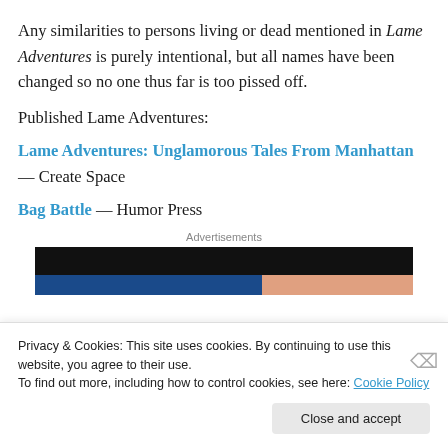Any similarities to persons living or dead mentioned in Lame Adventures is purely intentional, but all names have been changed so no one thus far is too pissed off.
Published Lame Adventures:
Lame Adventures: Unglamorous Tales From Manhattan — Create Space
Bag Battle — Humor Press
[Figure (other): Advertisements section with dark banner image]
Privacy & Cookies: This site uses cookies. By continuing to use this website, you agree to their use. To find out more, including how to control cookies, see here: Cookie Policy